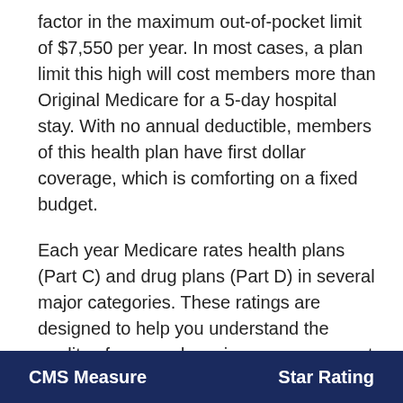factor in the maximum out-of-pocket limit of $7,550 per year. In most cases, a plan limit this high will cost members more than Original Medicare for a 5-day hospital stay. With no annual deductible, members of this health plan have first dollar coverage, which is comforting on a fixed budget.
Each year Medicare rates health plans (Part C) and drug plans (Part D) in several major categories. These ratings are designed to help you understand the quality of care and service you can expect if you join this plan:
| CMS Measure | Star Rating |
| --- | --- |